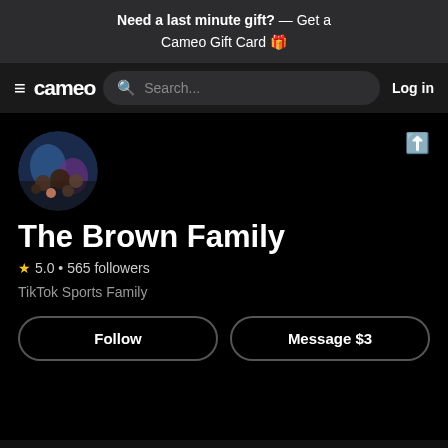Need a last minute gift? — Get a Cameo Gift Card 🎁
≡ cameo  🔍 Search...  Log in
[Figure (photo): Circular profile photo of The Brown Family — a group photo of a family with adults and children outdoors]
The Brown Family
★ 5.0 • 565 followers
TikTok Sports Family
Follow   Message $3